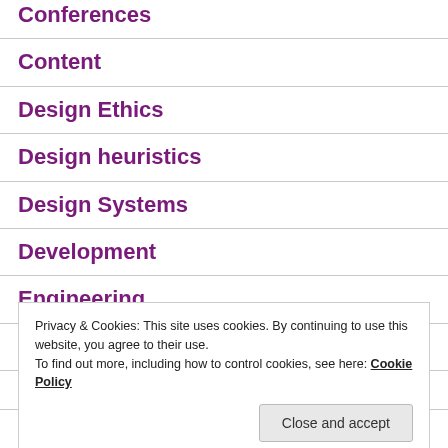Conferences
Content
Design Ethics
Design heuristics
Design Systems
Development
Engineering
Gaming
Privacy & Cookies: This site uses cookies. By continuing to use this website, you agree to their use.
To find out more, including how to control cookies, see here: Cookie Policy
Pri...